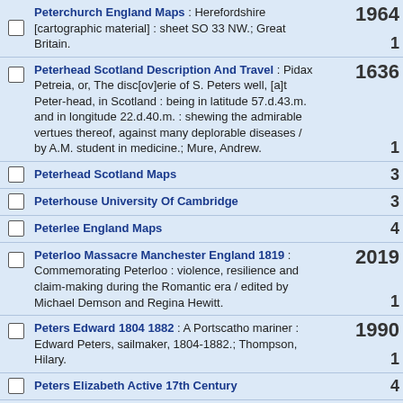Peterchurch England Maps : Herefordshire [cartographic material] : sheet SO 33 NW.; Great Britain.
Peterhead Scotland Description And Travel : Pidax Petreia, or, The disc[ov]erie of S. Peters well, [a]t Peter-head, in Scotland : being in latitude 57.d.43.m. and in longitude 22.d.40.m. : shewing the admirable vertues thereof, against many deplorable diseases / by A.M. student in medicine.; Mure, Andrew.
Peterhead Scotland Maps
Peterhouse University Of Cambridge
Peterlee England Maps
Peterloo Massacre Manchester England 1819 : Commemorating Peterloo : violence, resilience and claim-making during the Romantic era / edited by Michael Demson and Regina Hewitt.
Peters Edward 1804 1882 : A Portscatho mariner : Edward Peters, sailmaker, 1804-1882.; Thompson, Hilary.
Peters Elizabeth Active 17th Century
Peters Green England Maps : Bedfordshire - Hertfordshire [cartographic material] : sheet TL 11 NW.; Great Britain.